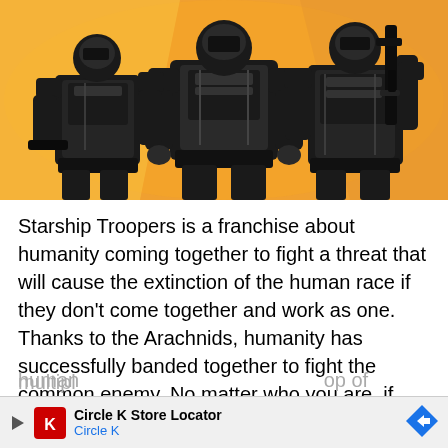[Figure (illustration): Illustration of three soldiers in black tactical armor and gear, two holding weapons, against an orange/yellow background suggesting a Starship Troopers theme]
Starship Troopers is a franchise about humanity coming together to fight a threat that will cause the extinction of the human race if they don't come together and work as one. Thanks to the Arachnids, humanity has successfully banded together to fight the common enemy. No matter who you are, if you're fighting bugs, humanity is right behind you.
Which begs the question: Does a game based on humanity... op of... multipl...
[Figure (screenshot): Advertisement bar for Circle K Store Locator with Circle K logo, play button, and navigation arrow]